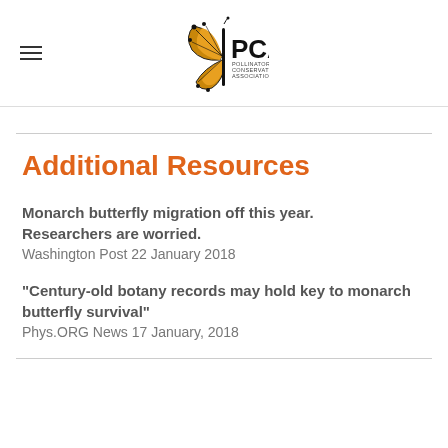[Figure (logo): PCA Pollinator Conservation Association logo with monarch butterfly wing graphic]
Additional Resources
Monarch butterfly migration off this year. Researchers are worried.
Washington Post 22 January 2018
"Century-old botany records may hold key to monarch butterfly survival"
Phys.ORG News 17 January, 2018